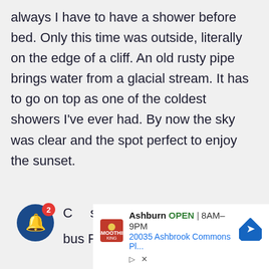always I have to have a shower before bed. Only this time was outside, literally on the edge of a cliff. An old rusty pipe brings water from a glacial stream. It has to go on top as one of the coldest showers I've ever had. By now the sky was clear and the spot perfect to enjoy the sunset.
Costs:
bus Fionnay – Le Chable: 8.2chf
[Figure (screenshot): Advertisement for Smoothie King Ashburn location showing logo, OPEN badge, hours 8AM-9PM, address 20035 Ashbrook Commons Pl..., and navigation arrow icon]